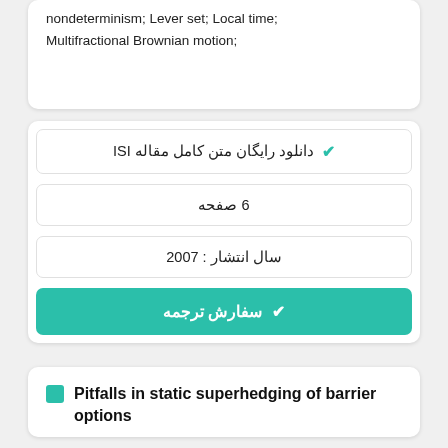nondeterminism; Lever set; Local time; Multifractional Brownian motion;
✔ دانلود رایگان متن کامل مقاله ISI
6 صفحه
سال انتشار : 2007
✔ سفارش ترجمه
Pitfalls in static superhedging of barrier options